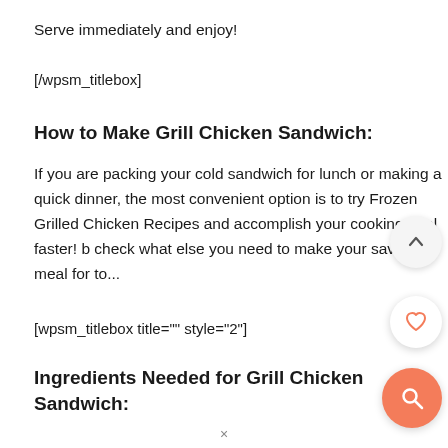Serve immediately and enjoy!
[/wpsm_titlebox]
How to Make Grill Chicken Sandwich:
If you are packing your cold sandwich for lunch or making a quick dinner, the most convenient option is to try Frozen Grilled Chicken Recipes and accomplish your cooking goal faster! b check what else you need to make your savoury meal for to...
[wpsm_titlebox title="" style="2"]
Ingredients Needed for Grill Chicken Sandwich: